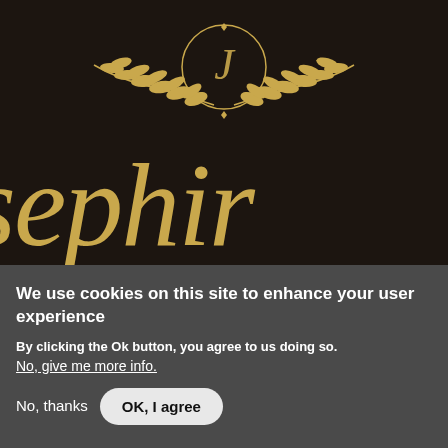[Figure (logo): Josephine brand logo: gold cursive text 'sephir' (partially visible) with decorative laurel wreath and circular monogram emblem on black background]
We use cookies on this site to enhance your user experience
By clicking the Ok button, you agree to us doing so.
No, give me more info.
No, thanks
OK, I agree